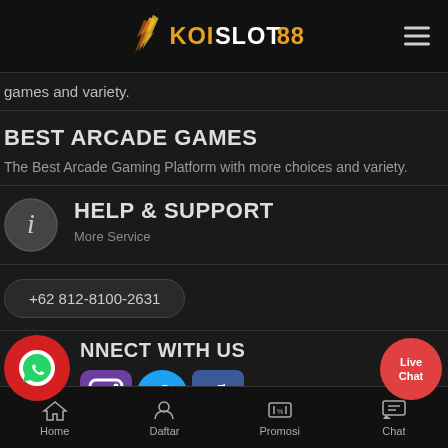KOI SLOT 88
games and variety.
BEST ARCADE GAMES
The Best Arcade Gaming Platform with more choices and variety.
HELP & SUPPORT
More Service
+62 812-8100-2631
CONNECT WITH US
Home  Daftar  Promosi  Chat